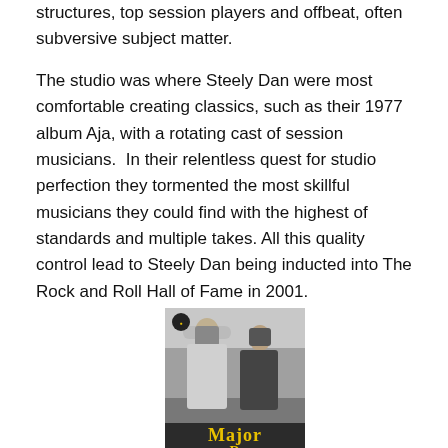structures, top session players and offbeat, often subversive subject matter.
The studio was where Steely Dan were most comfortable creating classics, such as their 1977 album Aja, with a rotating cast of session musicians.  In their relentless quest for studio perfection they tormented the most skillful musicians they could find with the highest of standards and multiple takes. All this quality control lead to Steely Dan being inducted into The Rock and Roll Hall of Fame in 2001.
[Figure (photo): Black and white photo of two people standing together, with 'Major D' text visible at the bottom in yellow/gold lettering, and a small round logo/badge in the upper left corner.]